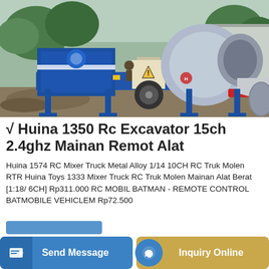[Figure (photo): Photo of a blue concrete mixer truck / cement mixing machine on a construction site, with large grey drum and red pipe visible, parked on gravel.]
√ Huina 1350 Rc Excavator 15ch 2.4ghz Mainan Remot Alat
Huina 1574 RC Mixer Truck Metal Alloy 1/14 10CH RC Truk Molen RTR Huina Toys 1333 Mixer Truck RC Truk Molen Mainan Alat Berat [1:18/ 6CH] Rp311.000 RC MOBIL BATMAN - REMOTE CONTROL BATMOBILE VEHICLEM Rp72.500